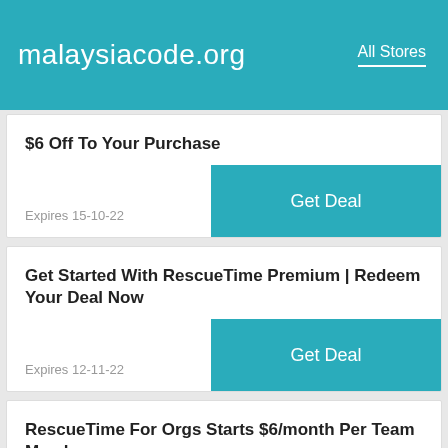malaysiacode.org   All Stores
$6 Off To Your Purchase
Expires 15-10-22
Get Deal
Get Started With RescueTime Premium | Redeem Your Deal Now
Expires 12-11-22
Get Deal
RescueTime For Orgs Starts $6/month Per Team Member